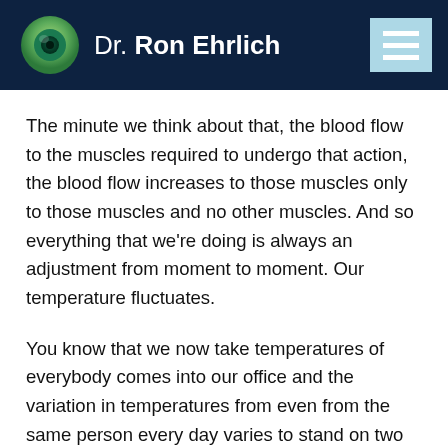Dr. Ron Ehrlich
The minute we think about that, the blood flow to the muscles required to undergo that action, the blood flow increases to those muscles only to those muscles and no other muscles. And so everything that we’re doing is always an adjustment from moment to moment. Our temperature fluctuates.
You know that we now take temperatures of everybody comes into our office and the variation in temperatures from even from the same person every day varies to stand on two feet and to not topple over. Requires an